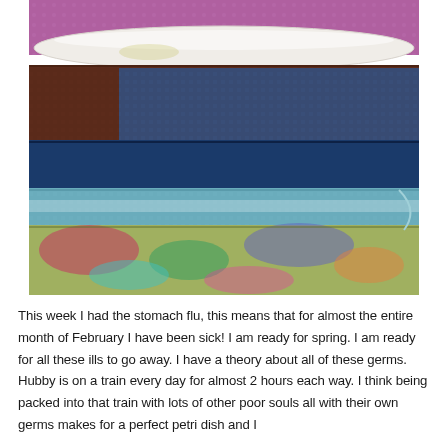[Figure (photo): Close-up photo of stacked layers of colorful fabric or felt pieces. From top to bottom: a white/cream rope or rolled tube on a purple/pink fuzzy background, then layers of dark reddish-brown, deep blue, lighter blue/teal, and multicolored tie-dye style fabric pieces.]
This week I had the stomach flu, this means that for almost the entire month of February I have been sick! I am ready for spring. I am ready for all these ills to go away. I have a theory about all of these germs. Hubby is on a train every day for almost 2 hours each way. I think being packed into that train with lots of other poor souls all with their own germs makes for a perfect petri dish and I